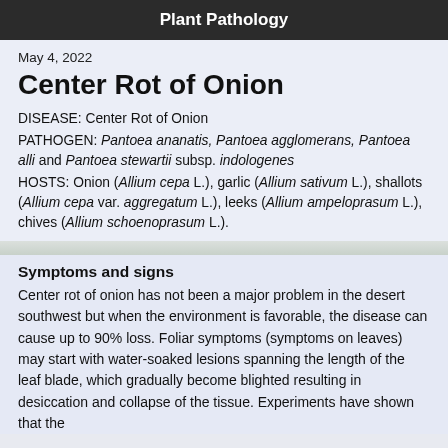Plant Pathology
May 4, 2022
Center Rot of Onion
DISEASE: Center Rot of Onion
PATHOGEN: Pantoea ananatis, Pantoea agglomerans, Pantoea alli and Pantoea stewartii subsp. indologenes
HOSTS: Onion (Allium cepa L.), garlic (Allium sativum L.), shallots (Allium cepa var. aggregatum L.), leeks (Allium ampeloprasum L.), chives (Allium schoenoprasum L.).
Symptoms and signs
Center rot of onion has not been a major problem in the desert southwest but when the environment is favorable, the disease can cause up to 90% loss. Foliar symptoms (symptoms on leaves) may start with water-soaked lesions spanning the length of the leaf blade, which gradually become blighted resulting in desiccation and collapse of the tissue. Experiments have shown that the